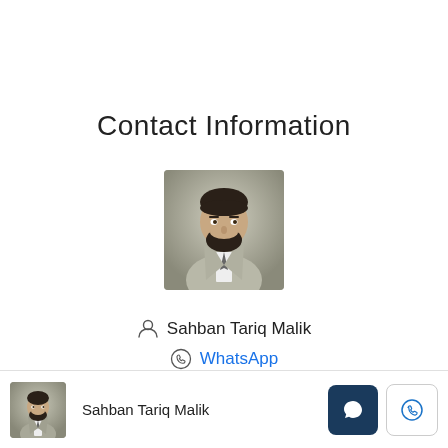Contact Information
[Figure (photo): Profile photo of Sahban Tariq Malik - man in grey suit with beard]
Sahban Tariq Malik
WhatsApp
Sahban Tariq Malik | WhatsApp